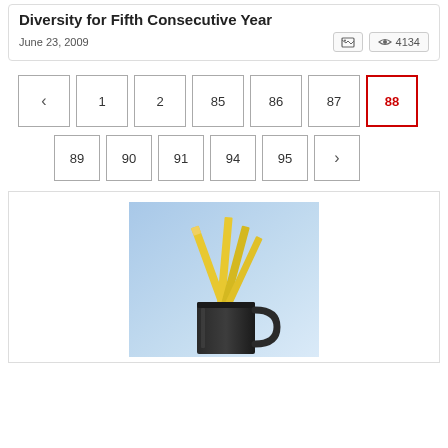Diversity for Fifth Consecutive Year
June 23, 2009
4134 views
< 1 2 85 86 87 88 (active) 89 90 91 94 95 >
[Figure (photo): A dark metal cup or mug holding several yellow pencils, photographed against a soft blue background.]